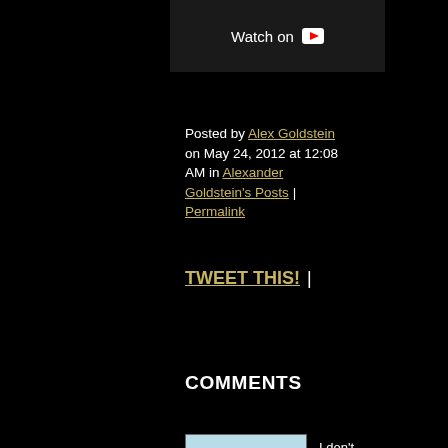[Figure (screenshot): Partial YouTube video thumbnail showing 'Watch on' text with YouTube play button icon against dark background]
Posted by Alex Goldstein on May 24, 2012 at 12:08 AM in Alexander Goldstein's Posts | Permalink
TWEET THIS! |
COMMENTS
[Figure (photo): Square avatar image with light blue background showing a network/map-like illustration with white lines on blue]
I don't really think about that. I don't really understa how I write songs